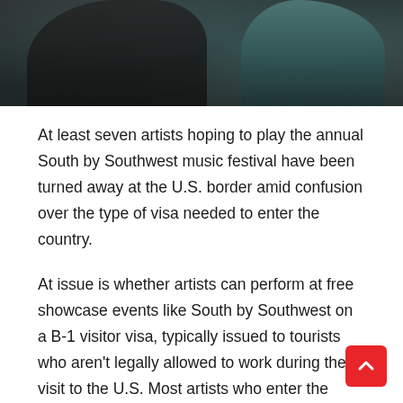[Figure (photo): Blurred photo of two figures, one in dark clothing on the left and one in teal/blue-green on the right, appearing to be at an indoor venue or event. The image is motion-blurred.]
At least seven artists hoping to play the annual South by Southwest music festival have been turned away at the U.S. border amid confusion over the type of visa needed to enter the country.
At issue is whether artists can perform at free showcase events like South by Southwest on a B-1 visitor visa, typically issued to tourists who aren't legally allowed to work during their visit to the U.S. Most artists who enter the country for a tour do so on a performance visa (also known as P-1), but artists performing for free at showcase events like South by Southwest have used B-1